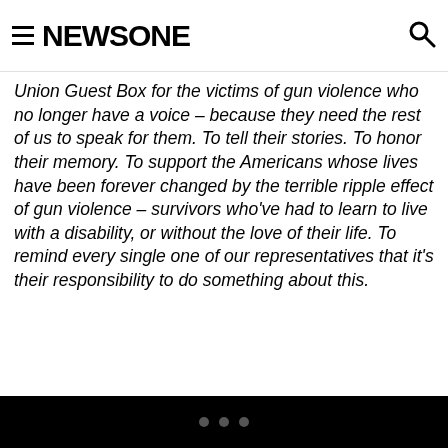NEWSONE
Union Guest Box for the victims of gun violence who no longer have a voice – because they need the rest of us to speak for them. To tell their stories. To honor their memory. To support the Americans whose lives have been forever changed by the terrible ripple effect of gun violence – survivors who've had to learn to live with a disability, or without the love of their life. To remind every single one of our representatives that it's their responsibility to do something about this.
• • •